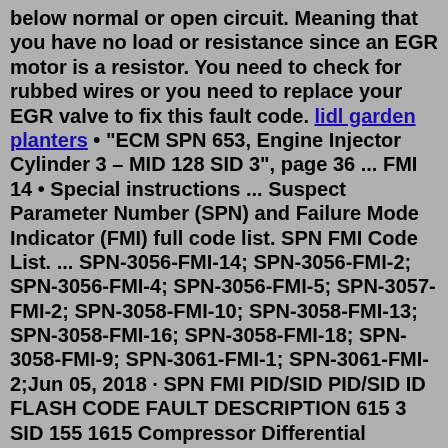below normal or open circuit. Meaning that you have no load or resistance since an EGR motor is a resistor. You need to check for rubbed wires or you need to replace your EGR valve to fix this fault code. lidl garden planters • "ECM SPN 653, Engine Injector Cylinder 3 – MID 128 SID 3", page 36 ... FMI 14 • Special instructions ... Suspect Parameter Number (SPN) and Failure Mode Indicator (FMI) full code list. SPN FMI Code List. ... SPN-3056-FMI-14; SPN-3056-FMI-2; SPN-3056-FMI-4; SPN-3056-FMI-5; SPN-3057-FMI-2; SPN-3058-FMI-10; SPN-3058-FMI-13; SPN-3058-FMI-16; SPN-3058-FMI-18; SPN-3058-FMI-9; SPN-3061-FMI-1; SPN-3061-FMI-2;Jun 05, 2018 · SPN FMI PID/SID PID/SID ID FLASH CODE FAULT DESCRIPTION 615 3 SID 155 1615 Compressor Differential Pressure Outlet Failed High 615 14 SID 155 1615 Doser Metering and Safety Unit Valve Seals Check 615 14 SID 155 1615 High Pressure Pump, Leakage or TDC Position Wrong 615 4 SID 155 1615 Flap In Front of EGR Cooler Circuit Failed Low. SID(S) PID(P) FMI SPN FMI DESCRIPTION